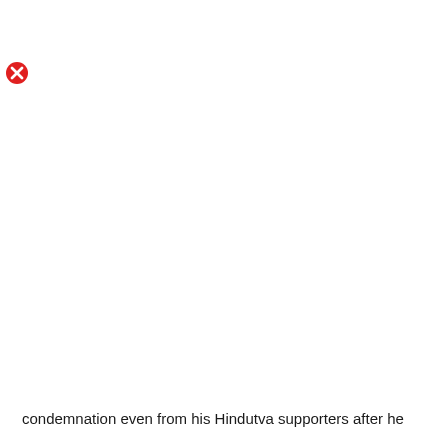[Figure (other): Broken image icon — a red circle with a white X, indicating a missing or unloaded image in the document.]
condemnation even from his Hindutva supporters after he